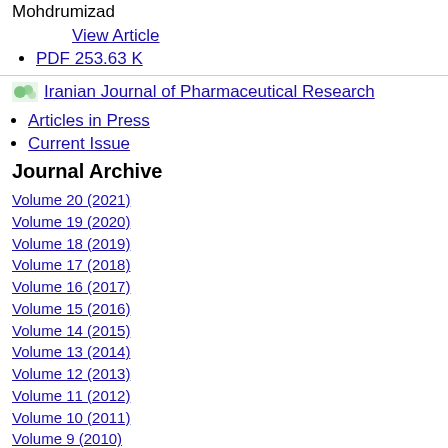Mohdrumizad
View Article
PDF 253.63 K
[Figure (logo): Iranian Journal of Pharmaceutical Research logo image link]
Articles in Press
Current Issue
Journal Archive
Volume 20 (2021)
Volume 19 (2020)
Volume 18 (2019)
Volume 17 (2018)
Volume 16 (2017)
Volume 15 (2016)
Volume 14 (2015)
Volume 13 (2014)
Volume 12 (2013)
Volume 11 (2012)
Volume 10 (2011)
Volume 9 (2010)
Volume 8 (2009)